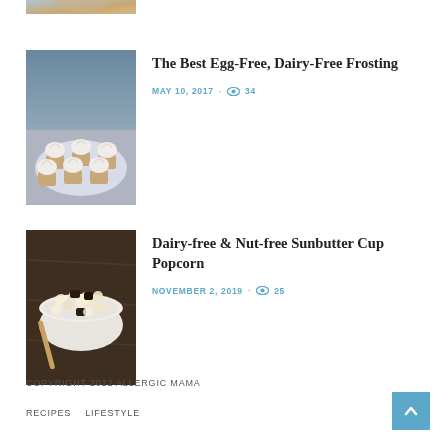[Figure (photo): Partial view of a cupcake photo at top of page]
The Best Egg-Free, Dairy-Free Frosting
MAY 10, 2017 · 34 views
[Figure (photo): White bowl of popcorn with sunbutter cups on a dark wooden surface]
Dairy-free & Nut-free Sunbutter Cup Popcorn
NOVEMBER 2, 2019 · 25 views
COPYRIGHT 2022 ALLERGIC MAMA
RECIPES    LIFESTYLE